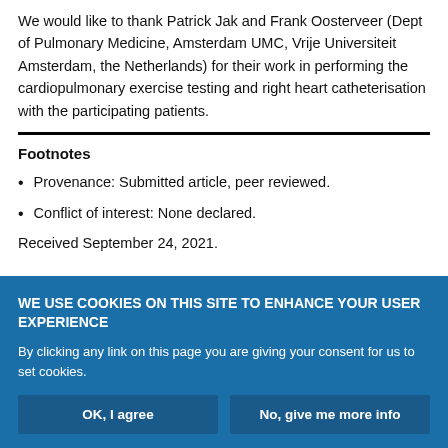We would like to thank Patrick Jak and Frank Oosterveer (Dept of Pulmonary Medicine, Amsterdam UMC, Vrije Universiteit Amsterdam, the Netherlands) for their work in performing the cardiopulmonary exercise testing and right heart catheterisation with the participating patients.
Footnotes
Provenance: Submitted article, peer reviewed.
Conflict of interest: None declared.
Received September 24, 2021.
WE USE COOKIES ON THIS SITE TO ENHANCE YOUR USER EXPERIENCE
By clicking any link on this page you are giving your consent for us to set cookies.